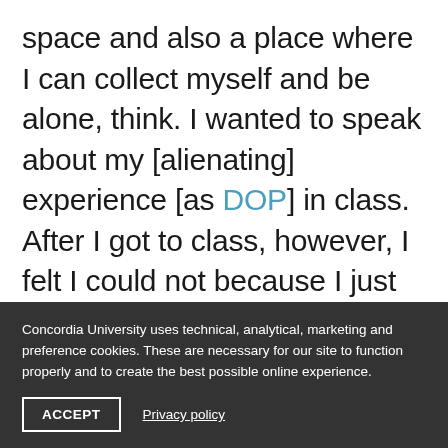space and also a place where I can collect myself and be alone, think. I wanted to speak about my [alienating] experience [as DOP] in class. After I got to class, however, I felt I could not because I just felt alone in this situation again. We were also watching a cut from a classmate's movie. His images
Concordia University uses technical, analytical, marketing and preference cookies. These are necessary for our site to function properly and to create the best possible online experience.
ACCEPT
Privacy policy